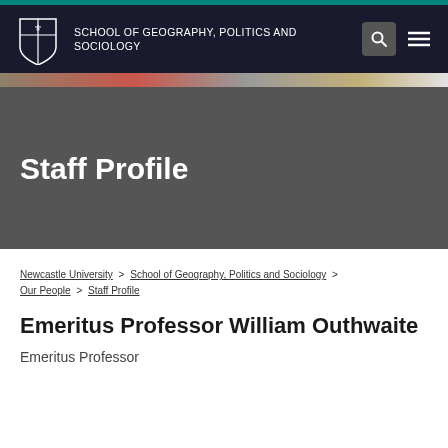SCHOOL OF GEOGRAPHY, POLITICS AND SOCIOLOGY
[Figure (photo): Colorful book spines hero image strip]
Staff Profile
Newcastle University > School of Geography, Politics and Sociology > Our People > Staff Profile
Emeritus Professor William Outhwaite
Emeritus Professor